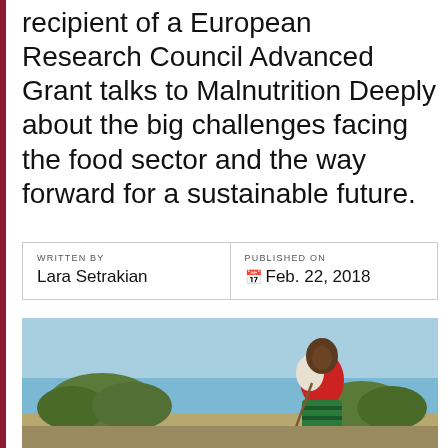recipient of a European Research Council Advanced Grant talks to Malnutrition Deeply about the big challenges facing the food sector and the way forward for a sustainable future.
| WRITTEN BY | PUBLISHED ON |
| --- | --- |
| Lara Setrakian | Feb. 22, 2018 |
[Figure (photo): A smiling woman wearing a red shirt and green striped skirt, standing in an outdoor field setting with trees in the background and a blue sky.]